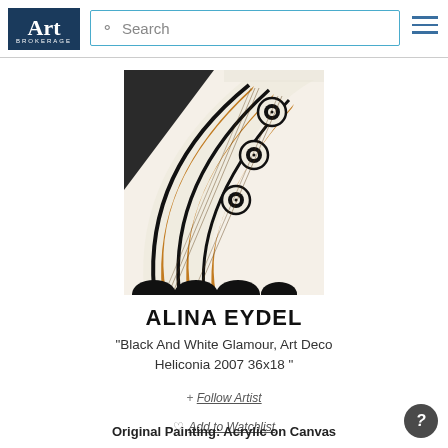Art Brokerage — Search navigation bar with logo, search box, and hamburger menu
[Figure (illustration): Close-up painting of butterfly wing pattern with black, white, and orange/amber Art Deco style markings showing concentric eye patterns on a white and dark background]
ALINA EYDEL
"Black And White Glamour, Art Deco Heliconia 2007 36x18 "
+ Follow Artist
♡ Add to Watchlist
Original Painting: Acrylic on Canvas